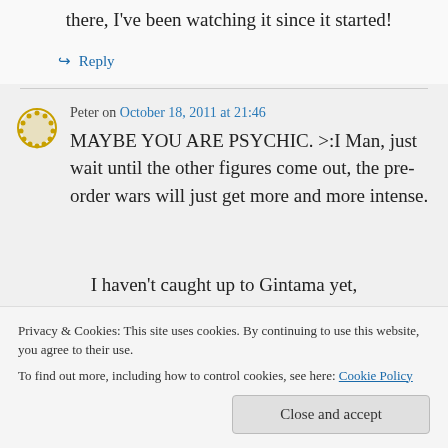there, I've been watching it since it started!
↪ Reply
Peter on October 18, 2011 at 21:46
MAYBE YOU ARE PSYCHIC. >:I Man, just wait until the other figures come out, the pre-order wars will just get more and more intense.
Privacy & Cookies: This site uses cookies. By continuing to use this website, you agree to their use. To find out more, including how to control cookies, see here: Cookie Policy
Close and accept
I haven't caught up to Gintama yet,